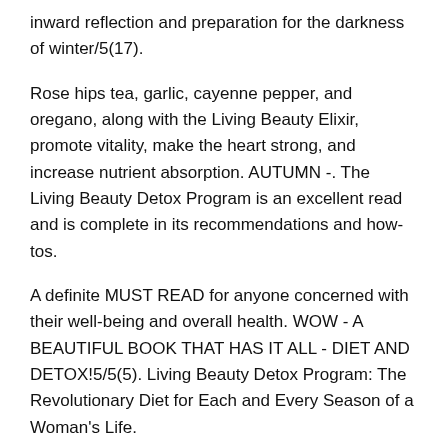inward reflection and preparation for the darkness of winter/5(17).
Rose hips tea, garlic, cayenne pepper, and oregano, along with the Living Beauty Elixir, promote vitality, make the heart strong, and increase nutrient absorption. AUTUMN -. The Living Beauty Detox Program is an excellent read and is complete in its recommendations and how-tos.
A definite MUST READ for anyone concerned with their well-being and overall health. WOW - A BEAUTIFUL BOOK THAT HAS IT ALL - DIET AND DETOX!5/5(5). Living Beauty Detox Program: The Revolutionary Diet for Each and Every Season of a Woman's Life.
SPRING -- time to rejuvenate. Leafy green vegetables, dandelion root tea, dill, mint, and chlorophyll-rich parsley cleanse the system, balance energy, and aid digestion/5. SUMMER -- an active season.
Rose hips tea, garlic, cayenne pepper, and oregano, along with the Living Beauty Elixir, promote vitality, make the heart strong, and increase nutrient absorption. AUTUMN -- time for inward reflection and preparation for the darkness of winter. Living Beauty Detox Program: